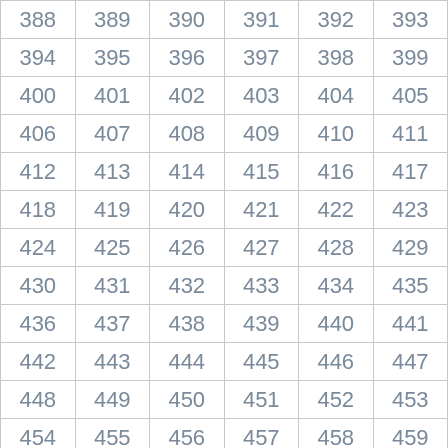| 388 | 389 | 390 | 391 | 392 | 393 |
| 394 | 395 | 396 | 397 | 398 | 399 |
| 400 | 401 | 402 | 403 | 404 | 405 |
| 406 | 407 | 408 | 409 | 410 | 411 |
| 412 | 413 | 414 | 415 | 416 | 417 |
| 418 | 419 | 420 | 421 | 422 | 423 |
| 424 | 425 | 426 | 427 | 428 | 429 |
| 430 | 431 | 432 | 433 | 434 | 435 |
| 436 | 437 | 438 | 439 | 440 | 441 |
| 442 | 443 | 444 | 445 | 446 | 447 |
| 448 | 449 | 450 | 451 | 452 | 453 |
| 454 | 455 | 456 | 457 | 458 | 459 |